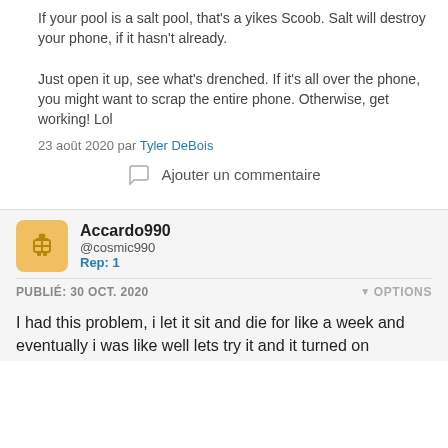If your pool is a salt pool, that's a yikes Scoob. Salt will destroy your phone, if it hasn't already.

Just open it up, see what's drenched. If it's all over the phone, you might want to scrap the entire phone. Otherwise, get working! Lol
23 août 2020 par Tyler DeBois
Ajouter un commentaire
Accardo990
@cosmic990
Rep: 1
PUBLIÉ: 30 OCT. 2020
OPTIONS
I had this problem, i let it sit and die for like a week and eventually i was like well lets try it and it turned on